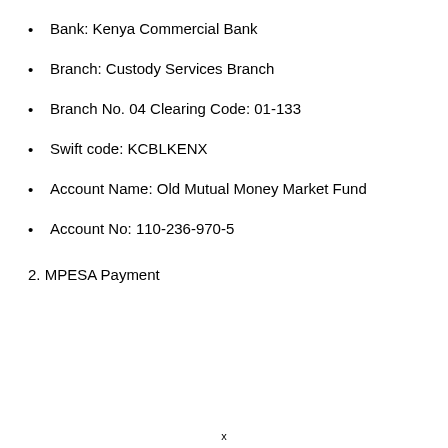Bank: Kenya Commercial Bank
Branch: Custody Services Branch
Branch No. 04 Clearing Code: 01-133
Swift code: KCBLKENX
Account Name: Old Mutual Money Market Fund
Account No: 110-236-970-5
2. MPESA Payment
x